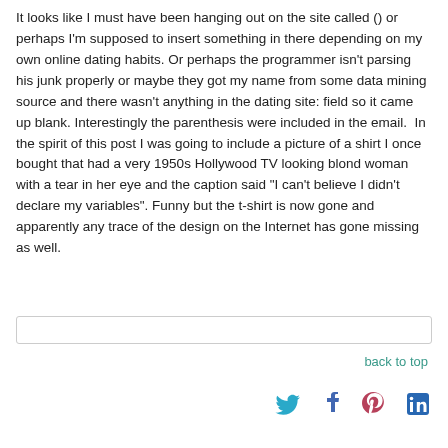It looks like I must have been hanging out on the site called () or perhaps I'm supposed to insert something in there depending on my own online dating habits. Or perhaps the programmer isn't parsing his junk properly or maybe they got my name from some data mining source and there wasn't anything in the dating site: field so it came up blank. Interestingly the parenthesis were included in the email.  In the spirit of this post I was going to include a picture of a shirt I once bought that had a very 1950s Hollywood TV looking blond woman with a tear in her eye and the caption said "I can't believe I didn't declare my variables". Funny but the t-shirt is now gone and apparently any trace of the design on the Internet has gone missing as well.
back to top
[Figure (infographic): Social media sharing icons: Twitter bird (teal), Facebook f (blue), Pinterest P (mauve/red), LinkedIn in (blue)]